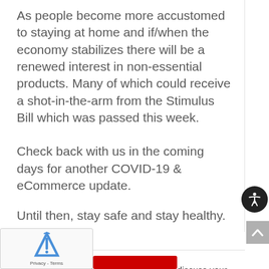As people become more accustomed to staying at home and if/when the economy stabilizes there will be a renewed interest in non-essential products. Many of which could receive a shot-in-the-arm from the Stimulus Bill which was passed this week.
Check back with us in the coming days for another COVID-19 & eCommerce update.
Until then, stay safe and stay healthy.
GET IN TOUCH
Connect with one of our experts today to discuss your eCommerce needs!